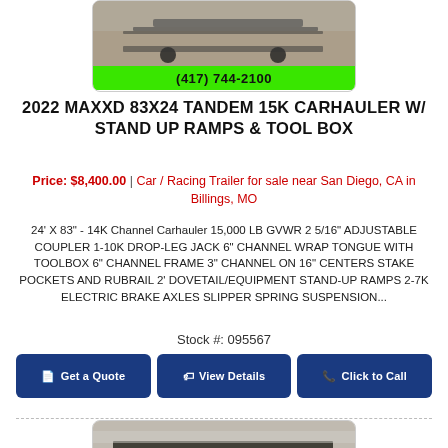[Figure (photo): Partial view of a car hauler trailer on gravel, with phone number bar showing (417) 744-2100]
2022 MAXXD 83X24 TANDEM 15K CARHAULER W/ STAND UP RAMPS & TOOL BOX
Price: $8,400.00  |  Car / Racing Trailer for sale near San Diego, CA in Billings, MO
24' X 83" - 14K Channel Carhauler 15,000 LB GVWR 2 5/16" ADJUSTABLE COUPLER 1-10K DROP-LEG JACK 6" CHANNEL WRAP TONGUE WITH TOOLBOX 6" CHANNEL FRAME 3" CHANNEL ON 16" CENTERS STAKE POCKETS AND RUBRAIL 2' DOVETAIL/EQUIPMENT STAND-UP RAMPS 2-7K ELECTRIC BRAKE AXLES SLIPPER SPRING SUSPENSION...
Stock #: 095567
Get a Quote | View Details | Click to Call
[Figure (photo): Bottom partial photo of a dark trailer at a dealership lot with bare trees in background]